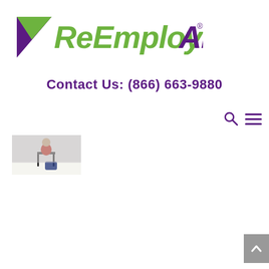[Figure (logo): ReEmployAbility logo with purple triangle/checkmark graphic on left; 'ReEmploy' in green italic and 'Ability.' in purple italic with registered trademark symbol]
Contact Us: (866) 663-9880
[Figure (photo): Small thumbnail photo of a person seated in a chair, appears to be in a workplace or training setting]
[Figure (other): Back to top arrow button (grey square with white up chevron)]